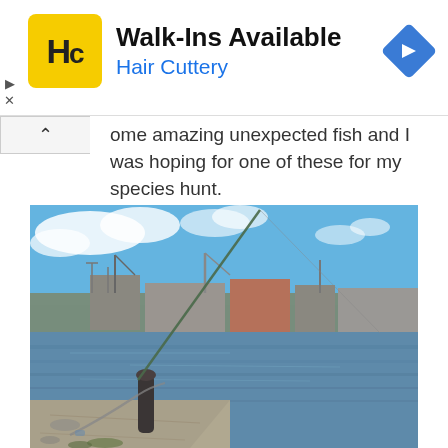[Figure (logo): Hair Cuttery advertisement banner with yellow HC logo, text 'Walk-Ins Available' in bold black, 'Hair Cuttery' in blue, and a blue diamond navigation arrow icon on the right]
ome amazing unexpected fish and I was hoping for one of these for my species hunt.
[Figure (photo): Outdoor harbor/dock scene on a sunny day with blue sky and clouds. A fishing rod leans against a bollard in the foreground with chain. Across the calm water is an industrial waterfront with cranes, warehouses and ships.]